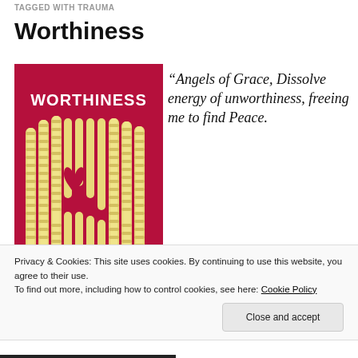TAGGED WITH TRAUMA
Worthiness
[Figure (photo): Photo of waffle fries arranged in a heart shape on a red background, with the word WORTHINESS in white bold text at the top.]
“Angels of Grace, Dissolve energy of unworthiness, freeing me to find Peace.
Privacy & Cookies: This site uses cookies. By continuing to use this website, you agree to their use.
To find out more, including how to control cookies, see here: Cookie Policy
Close and accept